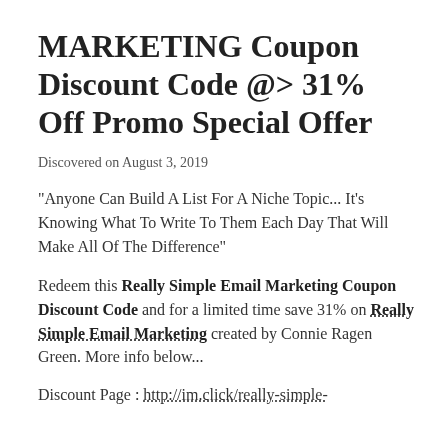MARKETING Coupon Discount Code @> 31% Off Promo Special Offer
Discovered on August 3, 2019
"Anyone Can Build A List For A Niche Topic... It's Knowing What To Write To Them Each Day That Will Make All Of The Difference"
Redeem this Really Simple Email Marketing Coupon Discount Code and for a limited time save 31% on Really Simple Email Marketing created by Connie Ragen Green. More info below...
Discount Page : http://im.click/really-simple-